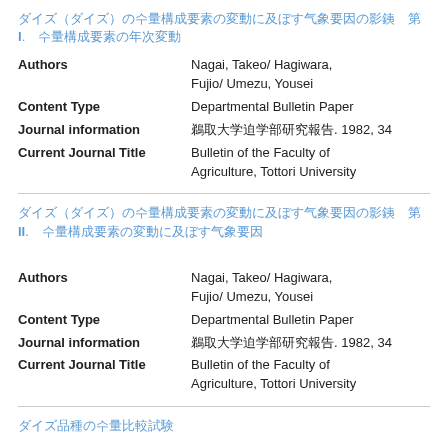ダイズ(ダイズ)の収量構成要素の変動に及ぼす気象要因の影響 第 I. 収量構成要素の年次変動
| Field | Value |
| --- | --- |
| Authors | Nagai, Takeo/ Hagiwara, Fujio/ Umezu, Yousei |
| Content Type | Departmental Bulletin Paper |
| Journal information | 鳥取大学農学部研究報告. 1982, 34 |
| Current Journal Title | Bulletin of the Faculty of Agriculture, Tottori University |
ダイズ(ダイズ)の収量構成要素の変動に及ぼす気象要因の影響 第 II. 収量構成要素の変動に及ぼす気象要因
| Field | Value |
| --- | --- |
| Authors | Nagai, Takeo/ Hagiwara, Fujio/ Umezu, Yousei |
| Content Type | Departmental Bulletin Paper |
| Journal information | 鳥取大学農学部研究報告. 1982, 34 |
| Current Journal Title | Bulletin of the Faculty of Agriculture, Tottori University |
ダイズ品種の収量比較試験
| Field | Value |
| --- | --- |
| Authors | Nagai, Takeo/ Fujiyama, |